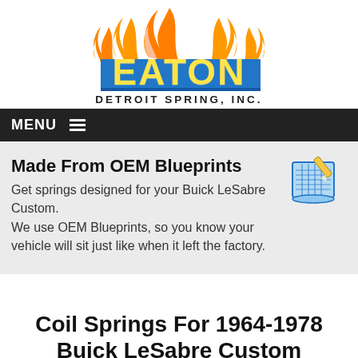[Figure (logo): Eaton Detroit Spring Inc. logo with flame graphic above blue EATON text and blue bar, with subtitle DETROIT SPRING, INC.]
MENU
Made From OEM Blueprints
Get springs designed for your Buick LeSabre Custom. We use OEM Blueprints, so you know your vehicle will sit just like when it left the factory.
[Figure (illustration): Blueprint scroll icon in blue]
Coil Springs For 1964-1978 Buick LeSabre Custom